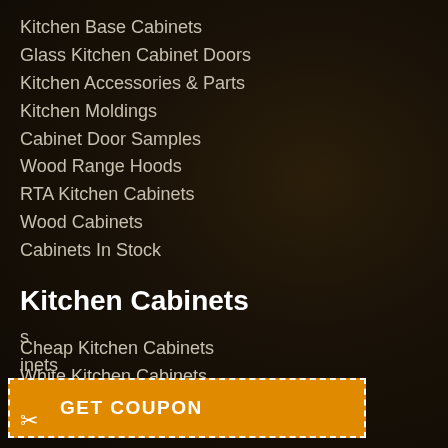Kitchen Base Cabinets
Glass Kitchen Cabinet Doors
Kitchen Accessories & Parts
Kitchen Moldings
Cabinet Door Samples
Wood Range Hoods
RTA Kitchen Cabinets
Wood Cabinets
Cabinets In Stock
Kitchen Cabinets
Cheap Kitchen Cabinets
White Kitchen Cabinets
...s
...inets
[Figure (other): Orange coupon button with dashed white border and scissors icon reading GET COUPON]